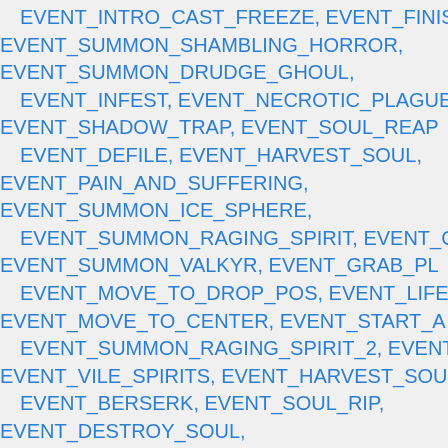EVENT_INTRO_CAST_FREEZE, EVENT_FINISH... EVENT_SUMMON_SHAMBLING_HORROR, EVENT_SUMMON_DRUDGE_GHOUL, EVENT_INFEST, EVENT_NECROTIC_PLAGUE... EVENT_SHADOW_TRAP, EVENT_SOUL_REAP... EVENT_DEFILE, EVENT_HARVEST_SOUL, EVENT_PAIN_AND_SUFFERING, EVENT_SUMMON_ICE_SPHERE, EVENT_SUMMON_RAGING_SPIRIT, EVENT_C... EVENT_SUMMON_VALKYR, EVENT_GRAB_PL... EVENT_MOVE_TO_DROP_POS, EVENT_LIFE... EVENT_MOVE_TO_CENTER, EVENT_START_A... EVENT_SUMMON_RAGING_SPIRIT_2, EVENT... EVENT_VILE_SPIRITS, EVENT_HARVEST_SOU... EVENT_BERSERK, EVENT_SOUL_RIP, EVENT_DESTROY_SOUL, EVENT_FROSTMOURNE_TALK_1, EVENT_FROSTMOURNE_TALK_2, EVENT_FROSTMOURNE_TALK_3, EVENT_TELEPORT_BACK, EVENT_FROSTMOURNE_HEROIC...